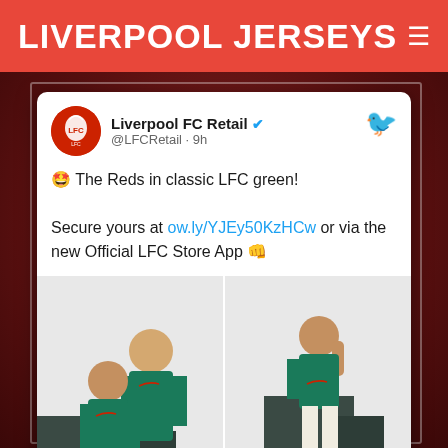LIVERPOOL JERSEYS
[Figure (screenshot): Screenshot of a Twitter/X post by Liverpool FC Retail (@LFCRetail) posted 9 hours ago. The post reads: '🤩 The Reds in classic LFC green! Secure yours at ow.ly/YJEy50KzHCw or via the new Official LFC Store App 👊'. Below the text are two side-by-side photos of Liverpool FC players wearing the green third kit jersey, posed against a white background with dark green cube props.]